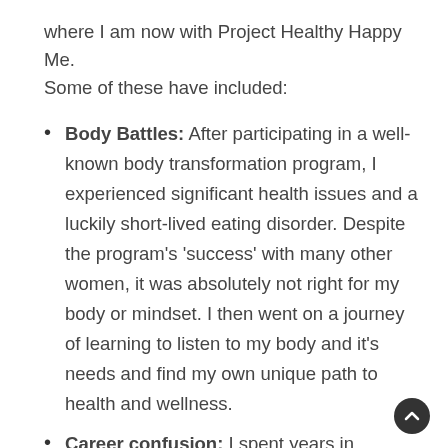where I am now with Project Healthy Happy Me. Some of these have included:
Body Battles: After participating in a well-known body transformation program, I experienced significant health issues and a luckily short-lived eating disorder. Despite the program's 'success' with many other women, it was absolutely not right for my body or mindset. I then went on a journey of learning to listen to my body and it's needs and find my own unique path to health and wellness.
Career confusion: I spent years in paralysis by analysis due to uncertainty around what direction